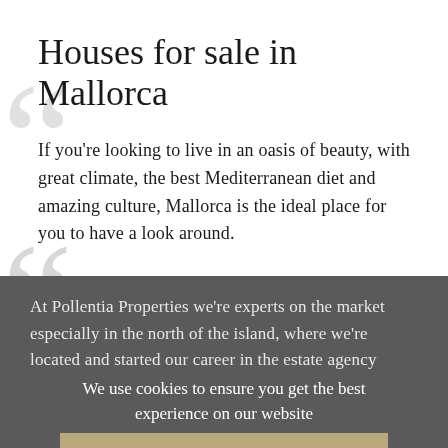Houses for sale in Mallorca
If you're looking to live in an oasis of beauty, with great climate, the best Mediterranean diet and amazing culture, Mallorca is the ideal place for you to have a look around.
At Pollentia Properties we're experts on the market especially in the north of the island, where we're located and started our career in the estate agency
We use cookies to ensure you get the best experience on our website
ACCEPT COOKIES
MORE INFORMATION